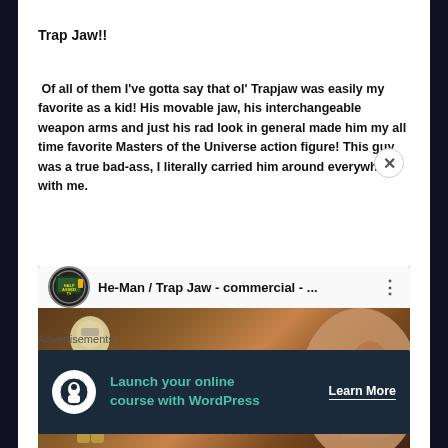Trap Jaw!!
Of all of them I've gotta say that ol' Trapjaw was easily my favorite as a kid! His movable jaw, his interchangeable weapon arms and just his rad look in general made him my all time favorite Masters of the Universe action figure! This guy was a true bad-ass, I literally carried him around everywhere with me.
[Figure (screenshot): YouTube video thumbnail showing He-Man / Trap Jaw commercial with channel logo and video title bar]
Advertisements
[Figure (infographic): Advertisement banner: Launch your online course with WordPress. Learn More button.]